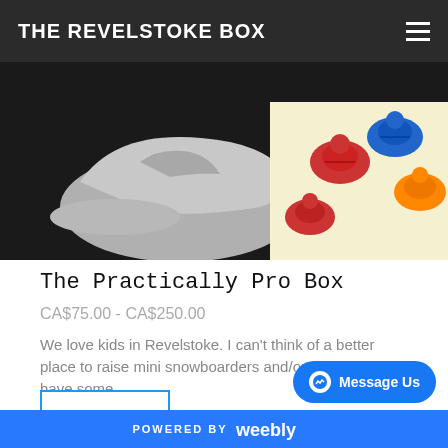THE REVELSTOKE BOX
[Figure (photo): Product photo showing a grey baseball cap and a cream-colored fabric with colorful turtle prints on a dark background]
The Practically Pro Box
CA$75.00 - CA$250.00
We love kids in Revelstoke. I can't think of a better place to raise mini snowboarders and/or skiers. We have some
SHOP
[Figure (photo): Product photo showing a dark bottle and a black bag/backpack on a tiled floor]
POWERED BY weebly